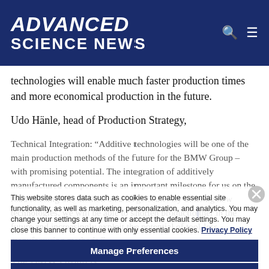ADVANCED SCIENCE NEWS
technologies will enable much faster production times and more economical production in the future.
Udo Hänle, head of Production Strategy, Technical Integration: “Additive technologies will be one of the main production methods of the future for the BMW Group – with promising potential. The integration of additively manufactured components is an important milestone for us on the road to using this method on a large-scale. By utilising new technologies, we will be able to shorten production times further in the future and increasingly exploit the potential of tool-less manufacturing methods.”
This website stores data such as cookies to enable essential site functionality, as well as marketing, personalization, and analytics. You may change your settings at any time or accept the default settings. You may close this banner to continue with only essential cookies.
Privacy Policy
Manage Preferences
Accept All
Reject All
The BMW Group is…